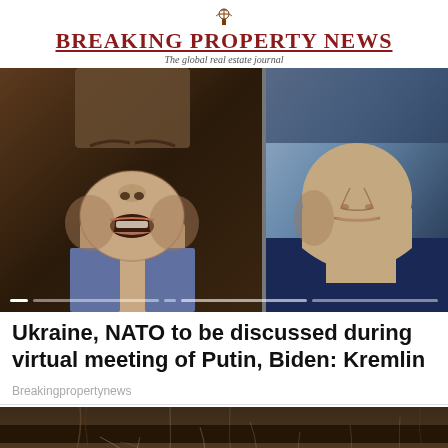BREAKING PROPERTY NEWS — The global real estate journal
[Figure (photo): Split image: left side shows close-up of an older man's face (lower portion, mouth open, wearing suit), right side shows close-up of another man's face in profile against blue background.]
Ukraine, NATO to be discussed during virtual meeting of Putin, Biden: Kremlin
Breakingpropertynews
[Figure (photo): Close-up photo of deteriorating building structure showing cracked concrete, old wooden beams, green mesh/netting, cobwebs, and a small black vent or opening.]